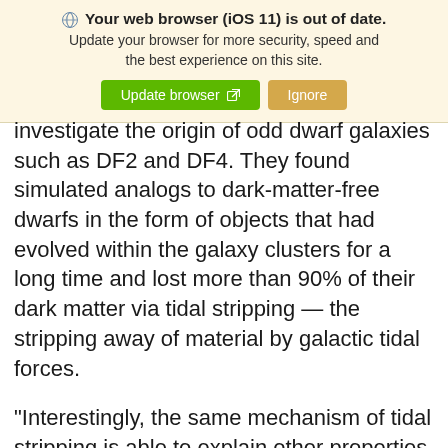Your web browser (iOS 11) is out of date. Update your browser for more security, speed and the best experience on this site. [Update browser] [Ignore]
investigate the origin of odd dwarf galaxies such as DF2 and DF4. They found simulated analogs to dark-matter-free dwarfs in the form of objects that had evolved within the galaxy clusters for a long time and lost more than 90% of their dark matter via tidal stripping — the stripping away of material by galactic tidal forces.
“Interestingly, the same mechanism of tidal stripping is able to explain other properties of dwarfs like DF2 and DF4 — for example, the fact that they are ‘ultradiffuse’ galaxies,” said co-author Laura Sales, an associate professor of physics